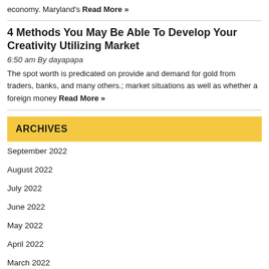economy. Maryland's Read More »
4 Methods You May Be Able To Develop Your Creativity Utilizing Market
6:50 am By dayapapa
The spot worth is predicated on provide and demand for gold from traders, banks, and many others.; market situations as well as whether a foreign money Read More »
ARCHIVES
September 2022
August 2022
July 2022
June 2022
May 2022
April 2022
March 2022